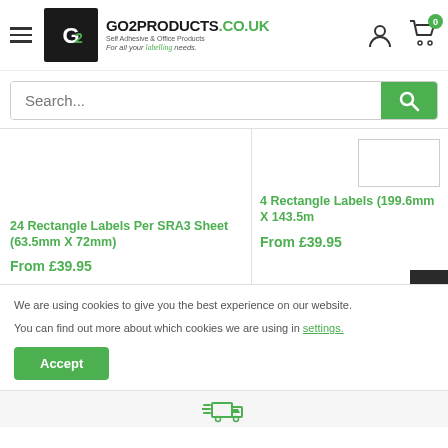[Figure (logo): Go2Products.co.uk logo with hamburger menu, cart icon with 0 badge, and user icon]
Search...
24 Rectangle Labels Per SRA3 Sheet (63.5mm X 72mm)
From £39.95
4 Rectangle Labels (199.6mm X 143.5mm)
From £39.95
We are using cookies to give you the best experience on our website.
You can find out more about which cookies we are using in settings.
Accept